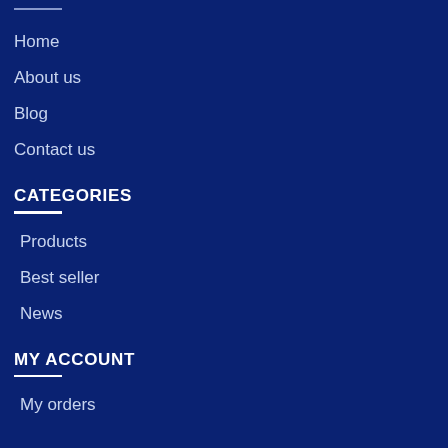Home
About us
Blog
Contact us
CATEGORIES
Products
Best seller
News
MY ACCOUNT
My orders